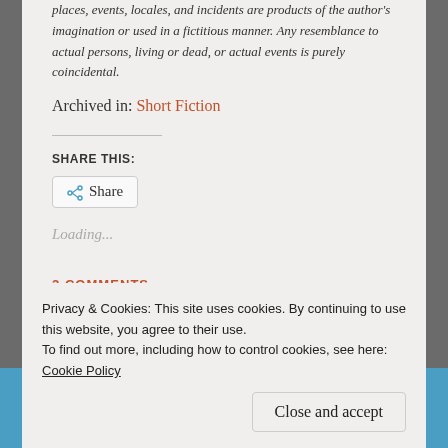places, events, locales, and incidents are products of the author's imagination or used in a fictitious manner. Any resemblance to actual persons, living or dead, or actual events is purely coincidental.
Archived in: Short Fiction
SHARE THIS:
Share
Loading...
2 COMMENTS
Privacy & Cookies: This site uses cookies. By continuing to use this website, you agree to their use.
To find out more, including how to control cookies, see here: Cookie Policy
Close and accept